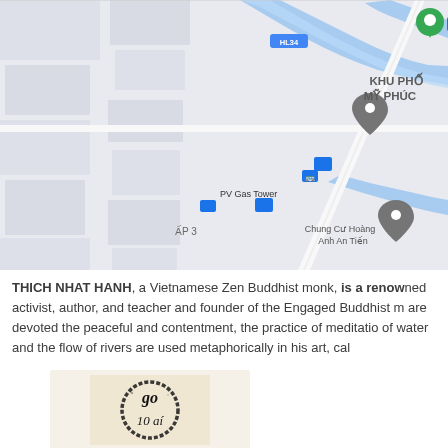[Figure (map): Google Maps screenshot showing an area in Vietnam with labels: HL34, KHU PHO MY PHUC, PV Gas Tower, Chung Cu Hoang Anh An Tien, AP 3, Truong Quoc Te, Cong vien Ban Nguye. Multiple blue bus stop icons and location pin markers visible. River shown in blue.]
THICH NHAT HANH, a Vietnamese Zen Buddhist monk, is a renowned activist, author, and teacher and founder of the Engaged Buddhist m are devoted the peaceful and contentment, the practice of meditatio of water and the flow of rivers are used metaphorically in his art, cal
[Figure (illustration): Calligraphy artwork on aged paper background showing handwritten characters in black ink, partially visible at bottom of page.]